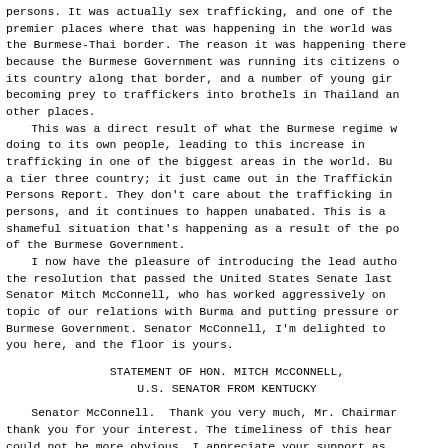persons. It was actually sex trafficking, and one of the premier places where that was happening in the world was the Burmese-Thai border. The reason it was happening there because the Burmese Government was running its citizens out of its country along that border, and a number of young girls becoming prey to traffickers into brothels in Thailand and other places.
This was a direct result of what the Burmese regime was doing to its own people, leading to this increase in trafficking in one of the biggest areas in the world. Burma is a tier three country; it just came out in the Trafficking in Persons Report. They don't care about the trafficking in persons, and it continues to happen unabated. This is a shameful situation that's happening as a result of the policies of the Burmese Government.
I now have the pleasure of introducing the lead author of the resolution that passed the United States Senate last year, Senator Mitch McConnell, who has worked aggressively on the topic of our relations with Burma and putting pressure on the Burmese Government. Senator McConnell, I'm delighted to have you here, and the floor is yours.
STATEMENT OF HON. MITCH McCONNELL,
U.S. SENATOR FROM KENTUCKY
Senator McConnell. Thank you very much, Mr. Chairman, thank you for your interest. The timeliness of this hearing could not be more obvious. I appreciate your support as well as Chairman Lugar's and Ranking Member Biden's support for the Burmese Freedom and Democracy Act, which we passed out of the Senate unanimously just about a year ago. That 97 to...